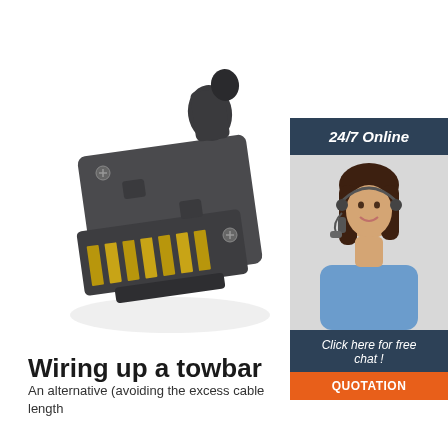[Figure (photo): A 7-pin flat trailer plug connector, black plastic housing with gold-colored metal pins, viewed from an angle showing the pin array and cable entry point.]
[Figure (photo): Advertisement banner: '24/7 Online' header in dark blue, a smiling female customer service representative wearing a headset and blue shirt, followed by 'Click here for free chat!' text in dark blue and an orange 'QUOTATION' button.]
Wiring up a towbar
An alternative (avoiding the excess cable length